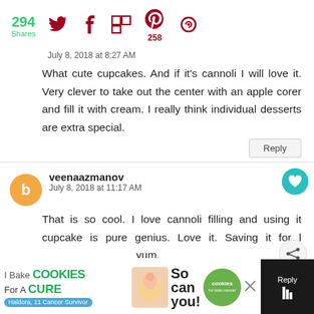294 Shares
July 8, 2018 at 8:27 AM
What cute cupcakes. And if it's cannoli I will love it. Very clever to take out the center with an apple corer and fill it with cream. I really think individual desserts are extra special.
veenaazmanov
July 8, 2018 at 11:17 AM
That is so cool. I love cannoli filling and using it cupcake is pure genius. Love it. Saving it for l... yum.
[Figure (infographic): Ad banner: I Bake COOKIES For A CURE - So can you! Haldora, 11 Cancer Survivor. cookies for kids cancer logo.]